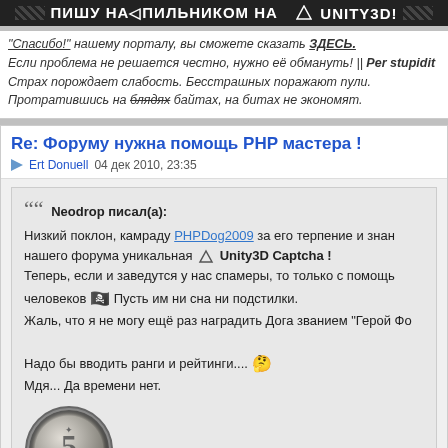[Figure (screenshot): Dark banner with diagonal stripe pattern on sides and text 'ПИШУ НАПИЛЬНИКОМ НА UNITY3D!' in white]
"Спасибо!" нашему порталу, вы сможете сказать ЗДЕСЬ.
Если проблема не решается честно, нужно её обмануть! || Per stupidit
Страх порождает слабость. Бесстрашных поражают пули.
Протратившись на блядях байтах, на битах не экономят.
Re: Форуму нужна помощь PHP мастера !
Ert Donuell  04 дек 2010, 23:35
Neodrop писал(а):
Низкий поклон, камраду PHPDog2009 за его терпение и знан
нашего форума уникальная Unity3D Captcha !
Теперь, если и заведутся у нас спамеры, то только с помощь
человеков Пусть им ни сна ни подстилки.
Жаль, что я не могу ещё раз наградить Дога званием "Герой Фо
Надо бы вводить ранги и рейтинги....
Мдя... Да времени нет.
[Figure (photo): A 5 kopek Russian coin (5 ЗАНОТ)]